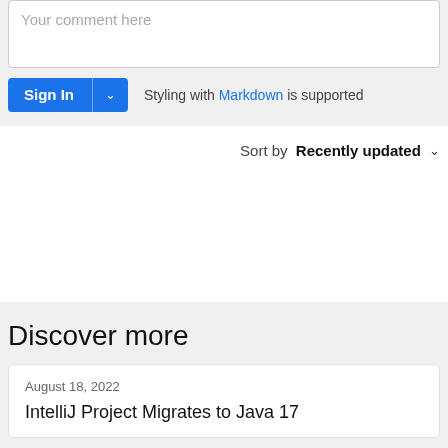[Figure (screenshot): Comment text area with placeholder text 'Your comment here']
[Figure (screenshot): Sign In button with dropdown chevron, and 'Styling with Markdown is supported' text]
Sort by Recently updated ˅
Discover more
August 18, 2022
IntelliJ Project Migrates to Java 17